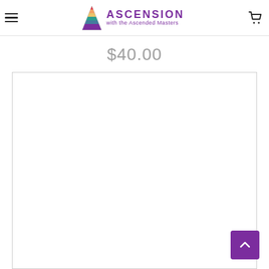Ascension with the Ascended Masters — navigation header with logo and cart
$40.00
[Figure (other): Large white content area / product image placeholder with light grey border]
[Figure (other): Purple back-to-top arrow button in bottom right corner]